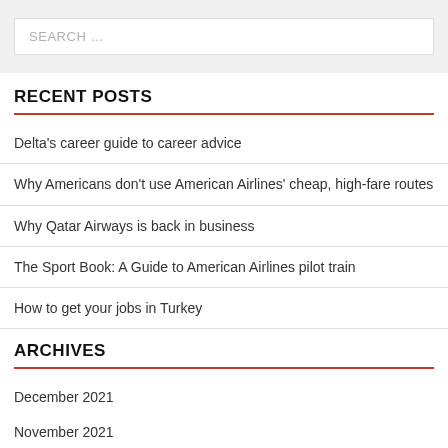SEARCH …
RECENT POSTS
Delta's career guide to career advice
Why Americans don't use American Airlines' cheap, high-fare routes
Why Qatar Airways is back in business
The Sport Book: A Guide to American Airlines pilot train
How to get your jobs in Turkey
ARCHIVES
December 2021
November 2021